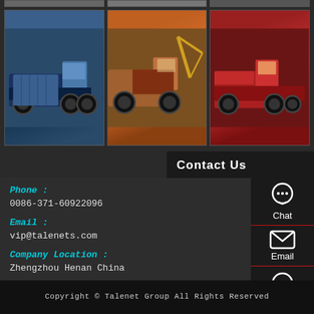[Figure (photo): Top partial row of three truck photos (cropped, only bottom visible)]
[Figure (photo): Three truck photos in a row: blue dump truck, orange crane truck (tractor), red trucks]
Contact Us
Phone :
0086-371-60922096
Email :
vip@talenets.com
Company Location :
Zhengzhou Henan China
Copyright © Talenet Group All Rights Reserved